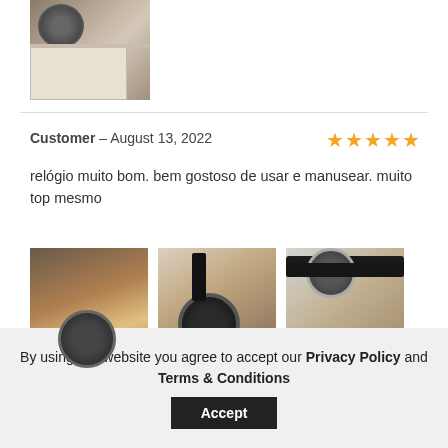[Figure (photo): Photo of a watch box/package with a clock visible in the corner, on a surface]
Customer – August 13, 2022
[Figure (other): Five gold/yellow star rating]
relógio muito bom. bem gostoso de usar e manusear. muito top mesmo
[Figure (photo): Three photos of a smartwatch/GPS watch from different angles on a wooden surface]
By using this website you agree to accept our Privacy Policy and Terms & Conditions
Accept